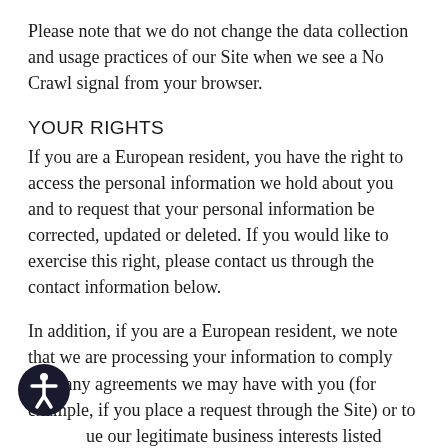Please note that we do not change the data collection and usage practices of our Site when we see a No Crawl signal from your browser.
YOUR RIGHTS
If you are a European resident, you have the right to access the personal information we hold about you and to request that your personal information be corrected, updated or deleted. If you would like to exercise this right, please contact us through the contact information below.
In addition, if you are a European resident, we note that we are processing your information to comply with any agreements we may have with you (for example, if you place a request through the Site) or to pursue our legitimate business interests listed above. Also, please note that your information will be